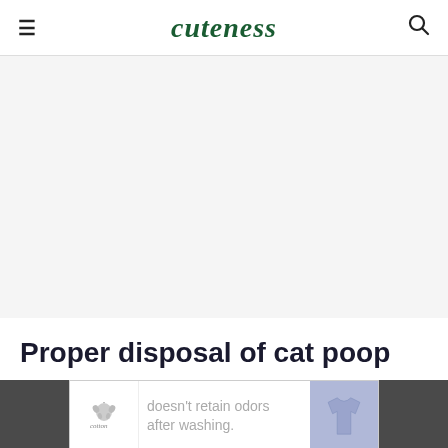cuteness
[Figure (other): Large gray advertisement placeholder area]
Proper disposal of cat poop
[Figure (other): Advertisement banner: cotton logo with text "doesn't retain odors after washing." with a blue t-shirt image, on a wood background]